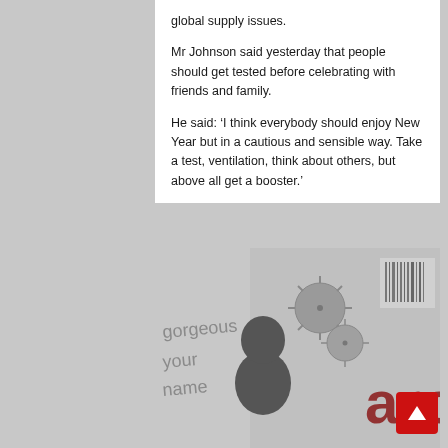global supply issues.
Mr Johnson said yesterday that people should get tested before celebrating with friends and family.
He said: ‘I think everybody should enjoy New Year but in a cautious and sensible way. Take a test, ventilation, think about others, but above all get a booster.’
[Figure (photo): Grayscale photo showing what appears to be a newspaper or COVID-related imagery with virus illustrations and partial text reading 'gorgeous your name' and 'arc' visible.]